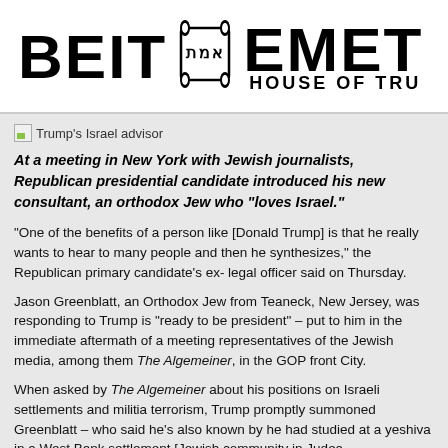[Figure (logo): Beit Emet House of Truth logo with Torah scroll graphic and Hebrew text]
[Figure (photo): Trump's Israel advisor - broken image placeholder]
At a meeting in New York with Jewish journalists, Republican presidential candidate introduced his new consultant, an orthodox Jew who "loves Israel."
"One of the benefits of a person like [Donald Trump] is that he really wants to hear to many people and then he synthesizes," the Republican primary candidate's ex legal officer said on Thursday.
Jason Greenblatt, an Orthodox Jew from Teaneck, New Jersey, was responding to Trump is "ready to be president" – put to him in the immediate aftermath of a meeting representatives of the Jewish media, among them The Algemeiner, in the GOP front City.
When asked by The Algemeiner about his positions on Israeli settlements and mi terrorism, Trump promptly summoned Greenblatt – who said he's also known by he had studied at a yeshiva in a West Bank settlement [Jewish community in Jud